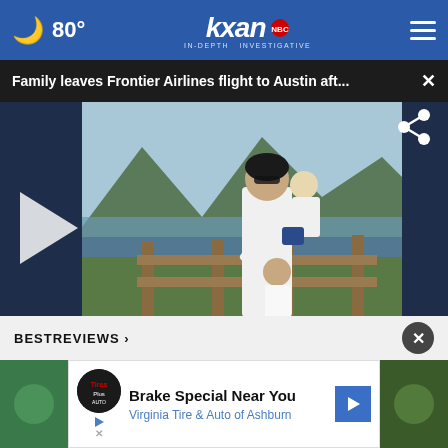🌙 80° | KXAN NBC IN-DEPTH INVESTIGATIVE
Family leaves Frontier Airlines flight to Austin aft...
[Figure (photo): Woman standing outdoors near a wooden fence with a mountain lake background, holding a toddler and with a young girl in a white dress beside her. Video player with play button overlay on left side. Share icon on upper right.]
BESTREVIEWS ›
Brake Special Near You
Virginia Tire & Auto of Ashburn